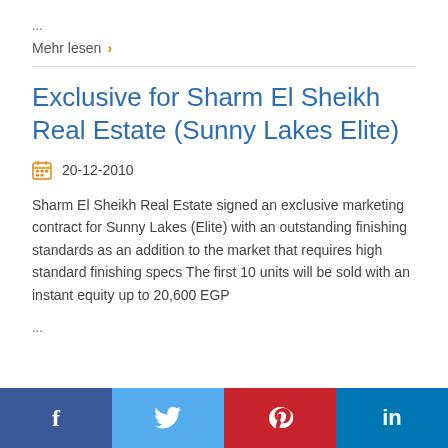...
Mehr lesen
Exclusive for Sharm El Sheikh Real Estate (Sunny Lakes Elite)
20-12-2010
Sharm El Sheikh Real Estate signed an exclusive marketing contract for Sunny Lakes (Elite) with an outstanding finishing standards as an addition to the market that requires high standard finishing specs The first 10 units will be sold with an instant equity up to 20,600 EGP
...
[Figure (infographic): Social media share buttons: Facebook (blue), Twitter (light blue), Pinterest (red), LinkedIn (dark blue)]